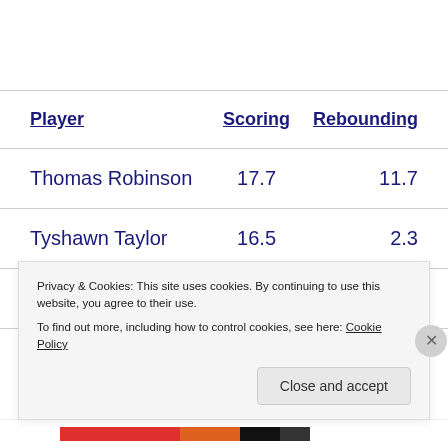| Player | Scoring | Rebounding |
| --- | --- | --- |
| Thomas Robinson | 17.7 | 11.7 |
| Tyshawn Taylor | 16.5 | 2.3 |
| Elijah Johnson | 10.1 | 3.3 |
Privacy & Cookies: This site uses cookies. By continuing to use this website, you agree to their use.
To find out more, including how to control cookies, see here: Cookie Policy